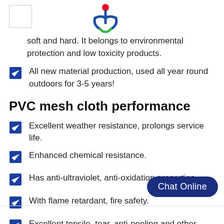[logo box] [company logo SVG]
soft and hard. It belongs to environmental protection and low toxicity products.
All new material production, used all year round outdoors for 3-5 years!
PVC mesh cloth performance
Excellent weather resistance, prolongs service life.
Enhanced chemical resistance.
Has anti-ultraviolet, anti-oxidation properties.
With flame retardant, fire safety.
Excellent tensile, tear, anti-peeling and other